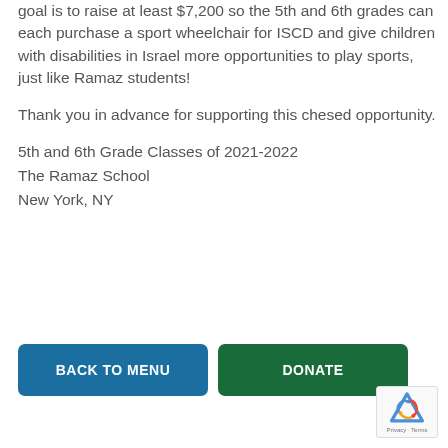goal is to raise at least $7,200 so the 5th and 6th grades can each purchase a sport wheelchair for ISCD and give children with disabilities in Israel more opportunities to play sports, just like Ramaz students!
Thank you in advance for supporting this chesed opportunity.
5th and 6th Grade Classes of 2021-2022
The Ramaz School
New York, NY
[Figure (other): Two buttons: 'BACK TO MENU' (blue) and 'DONATE' (green), and a reCAPTCHA badge in bottom-right corner.]